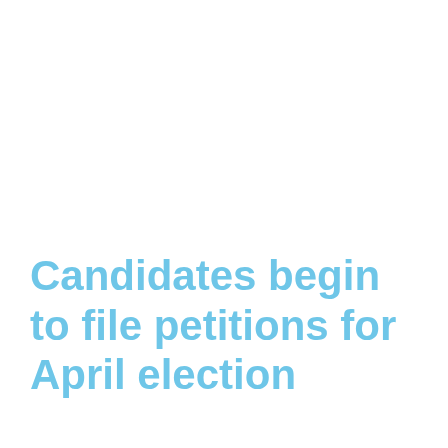Candidates begin to file petitions for April election